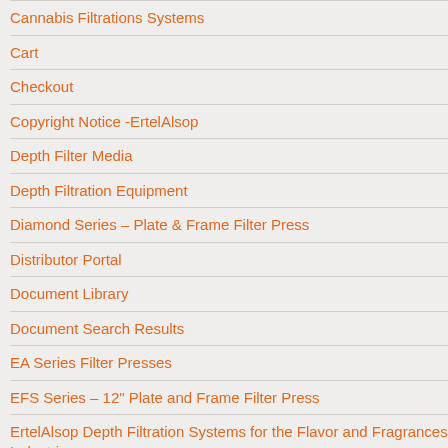Cannabis Filtrations Systems
Cart
Checkout
Copyright Notice -ErtelAlsop
Depth Filter Media
Depth Filtration Equipment
Diamond Series – Plate & Frame Filter Press
Distributor Portal
Document Library
Document Search Results
EA Series Filter Presses
EFS Series – 12" Plate and Frame Filter Press
ErtelAlsop Depth Filtration Systems for the Flavor and Fragrances Industries
EUS Series – 16" Plate and Frame Filter Press
Filter Out the Competition
Filtration Applications And Markets We Serve